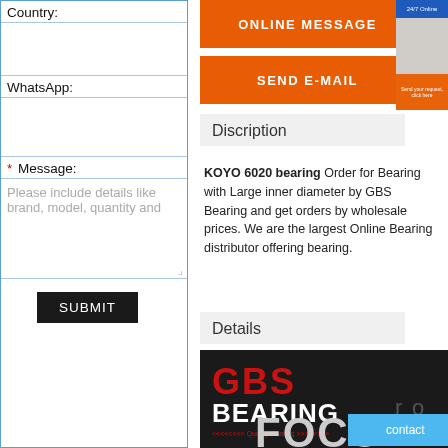Country:
WhatsApp:
* Message:
Please include details like brand, model, quantity and
SUBMIT
ONLINE MESSAGE
SEND E-MAIL
Discription
KOYO 6020 bearing Order for Bearing with Large inner diameter by GBS Bearing and get orders by wholesale prices. We are the largest Online Bearing distributor offering bearing.
Details
[Figure (logo): GBS Bearing logo with red GBS text and white BEARING text on dark background, with Quality Bearing tagline]
contact